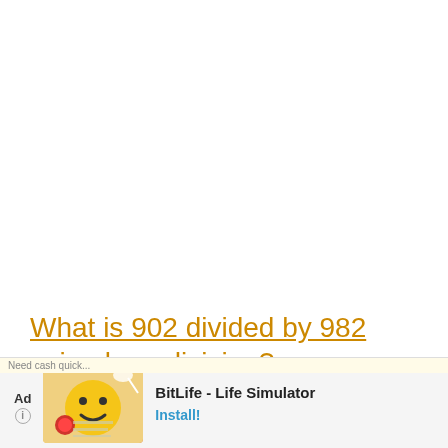What is 902 divided by 982 using long division?
Random Long Division Pr…
[Figure (other): Ad banner for BitLife - Life Simulator app with yellow/orange illustrated graphic, Ad label, and Install button]